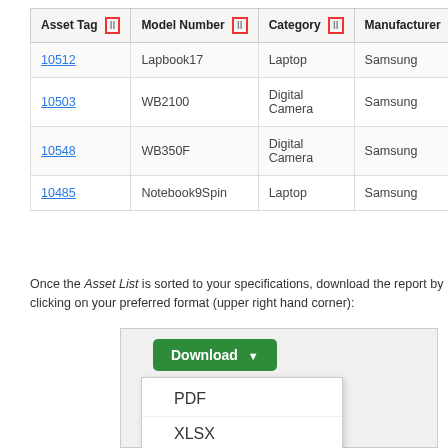| Asset Tag | Model Number | Category | Manufacturer |
| --- | --- | --- | --- |
| 10512 | Lapbook17 | Laptop | Samsung |
| 10503 | WB2100 | Digital Camera | Samsung |
| 10548 | WB350F | Digital Camera | Samsung |
| 10485 | Notebook9Spin | Laptop | Samsung |
Once the Asset List is sorted to your specifications, download the report by clicking on your preferred format (upper right hand corner):
[Figure (screenshot): Screenshot showing a green Download button with a dropdown arrow, and a dropdown menu showing options: PDF, XLSX, XLS]